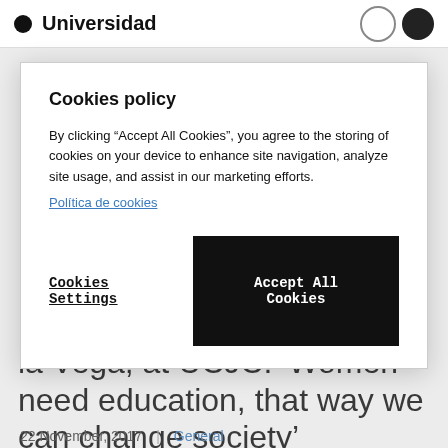Universidad
Cookies policy
By clicking “Accept All Cookies”, you agree to the storing of cookies on your device to enhance site navigation, analyze site usage, and assist in our marketing efforts.
Política de cookies
Cookies Settings
Accept All Cookies
María Teresa Fernández de la Vega, at UCJC: ‘Women need education, that way we can change society’
22 November, 2017 | General